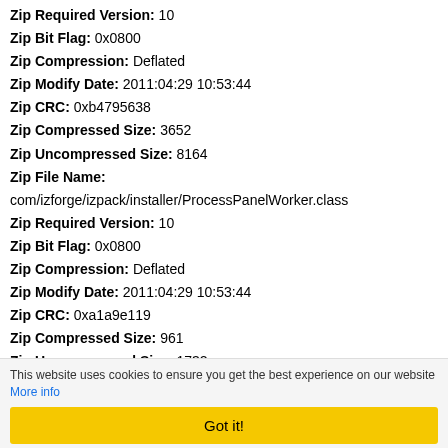Zip Required Version: 10
Zip Bit Flag: 0x0800
Zip Compression: Deflated
Zip Modify Date: 2011:04:29 10:53:44
Zip CRC: 0xb4795638
Zip Compressed Size: 3652
Zip Uncompressed Size: 8164
Zip File Name: com/izforge/izpack/installer/ProcessPanelWorker.class
Zip Required Version: 10
Zip Bit Flag: 0x0800
Zip Compression: Deflated
Zip Modify Date: 2011:04:29 10:53:44
Zip CRC: 0xa1a9e119
Zip Compressed Size: 961
Zip Uncompressed Size: 1732
Zip File Name: com/izforge/izpack/installer/ProgressDialog.class
Zip Required Version: 10
Zip Bit Flag: 0x0800
Zip Compression: Deflated
Zip Modify Date: 2011:04:29 10:53:44
Zip CRC: 0xfca68906
This website uses cookies to ensure you get the best experience on our website More info
Got it!